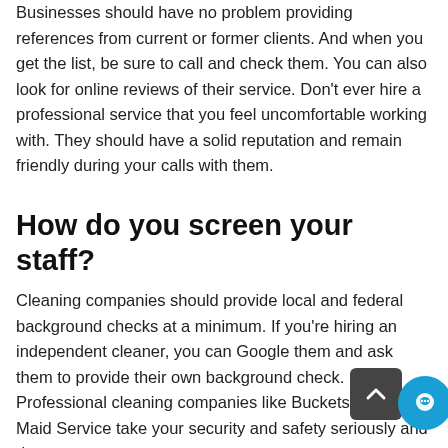Businesses should have no problem providing references from current or former clients. And when you get the list, be sure to call and check them. You can also look for online reviews of their service. Don't ever hire a professional service that you feel uncomfortable working with. They should have a solid reputation and remain friendly during your calls with them.
How do you screen your staff?
Cleaning companies should provide local and federal background checks at a minimum. If you're hiring an independent cleaner, you can Google them and ask them to provide their own background check. Professional cleaning companies like Buckets & Bows Maid Service take your security and safety seriously and do